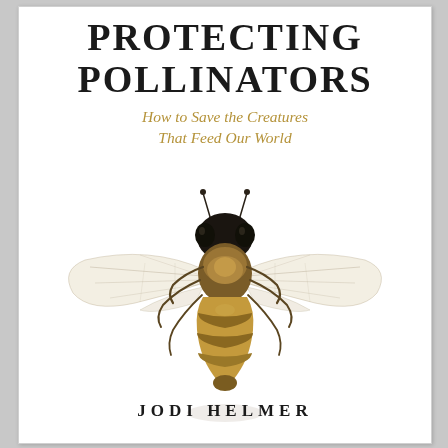PROTECTING POLLINATORS
How to Save the Creatures That Feed Our World
[Figure (photo): Close-up photograph of a bee (likely a honey bee or mason bee) viewed from above with wings spread wide, on a white background. The bee shows detailed anatomy including the fuzzy thorax, striped abdomen, transparent wings with visible venation, legs, and antennae.]
JODI HELMER